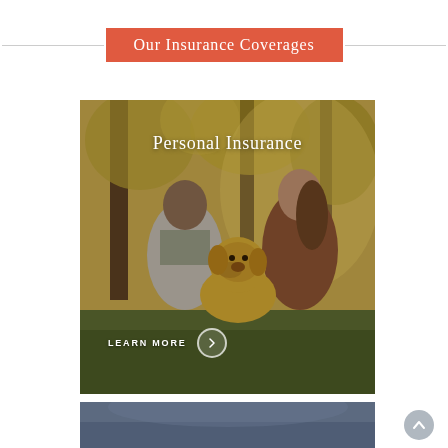Our Insurance Coverages
[Figure (photo): Couple with a golden retriever dog outdoors in an autumn park setting, with text overlay 'Personal Insurance' and a 'LEARN MORE' button with arrow circle]
[Figure (photo): Partial view of a blue-grey image card at the bottom of the page, representing another insurance category]